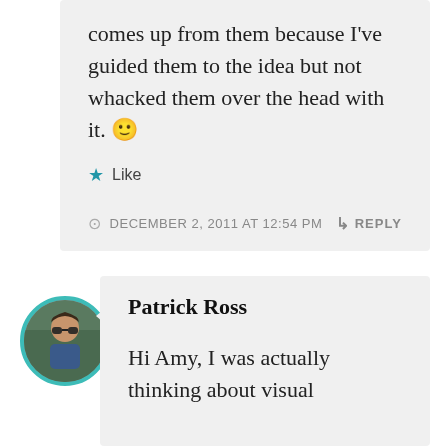comes up from them because I've guided them to the idea but not whacked them over the head with it. 🙂
★ Like
DECEMBER 2, 2011 AT 12:54 PM  ↳ REPLY
Patrick Ross
Hi Amy, I was actually thinking about visual